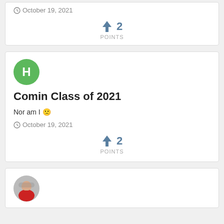October 19, 2021
↑ 2 POINTS
[Figure (other): Green circle avatar with letter H]
Comin Class of 2021
Nor am I 🙁
October 19, 2021
↑ 2 POINTS
[Figure (photo): User profile photo of a person in a red jersey]